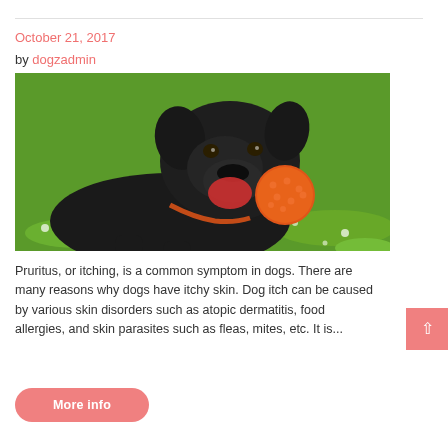October 21, 2017
by dogzadmin
[Figure (photo): Black Labrador dog lying on green grass holding an orange spiky ball in its mouth, wearing an orange collar.]
Pruritus, or itching, is a common symptom in dogs. There are many reasons why dogs have itchy skin. Dog itch can be caused by various skin disorders such as atopic dermatitis, food allergies, and skin parasites such as fleas, mites, etc. It is...
More info